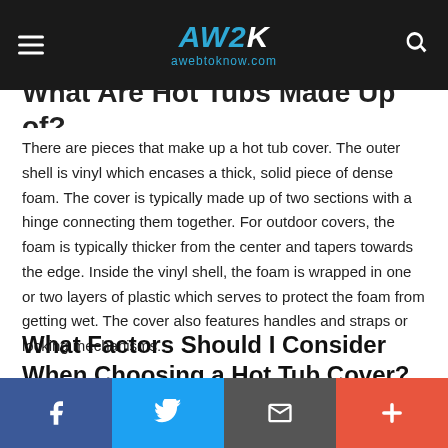AW2K awebtoknow.com
What Are Hot Tubs Made Up of?
There are pieces that make up a hot tub cover. The outer shell is vinyl which encases a thick, solid piece of dense foam. The cover is typically made up of two sections with a hinge connecting them together. For outdoor covers, the foam is typically thicker from the center and tapers towards the edge. Inside the vinyl shell, the foam is wrapped in one or two layers of plastic which serves to protect the foam from getting wet. The cover also features handles and straps or locking mechanisms.
What Factors Should I Consider When Choosing a Hot Tub Cover?